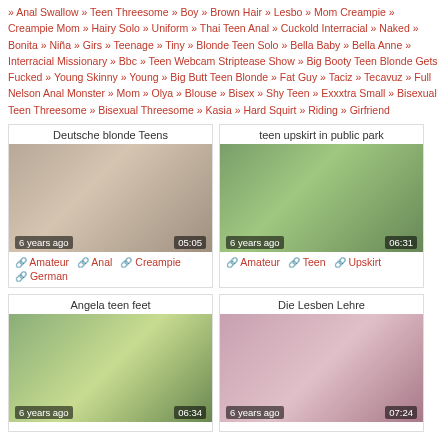» Anal Swallow » Teen Threesome » Boy » Brown Hair » Lesbo » Mom Creampie » Creampie Mom » Hairy Solo » Uniform » Thai Teen Anal » Cuckold Interracial » Naked » Bonita » Niña » Girs » Teenage » Tiny » Blonde Teen Solo » Bella Baby » Bella Anne » Interracial Missionary » Bbc » Teen Webcam Striptease Show » Big Booty Teen Blonde Gets Fucked » Young Skinny » Young » Big Butt Teen Blonde » Fat Guy » Taciz » Tecavuz » Full Nelson Anal Monster » Mom » Olya » Blouse » Bisex » Shy Teen » Exxxtra Small » Bisexual Teen Threesome » Bisexual Threesome » Kasia » Hard Squirt » Riding » Girfriend
[Figure (photo): Video thumbnail for Deutsche blonde Teens, duration 05:05, 6 years ago]
[Figure (photo): Video thumbnail for teen upskirt in public park, duration 06:31, 6 years ago]
[Figure (photo): Video thumbnail for Angela teen feet, duration 06:34, 6 years ago]
[Figure (photo): Video thumbnail for Die Lesben Lehre, duration 07:24, 6 years ago]